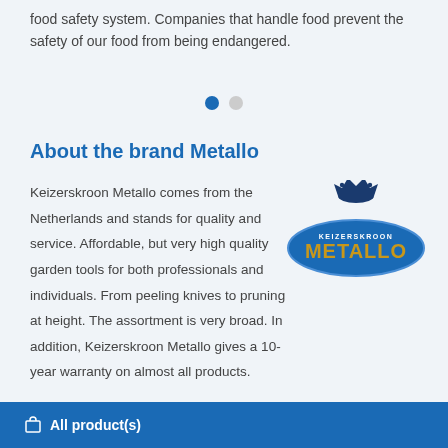food safety system. Companies that handle food prevent the safety of our food from being endangered.
[Figure (other): Pagination dots: one filled blue dot and one grey dot indicating slide 1 of 2]
About the brand Metallo
Keizerskroon Metallo comes from the Netherlands and stands for quality and service. Affordable, but very high quality garden tools for both professionals and individuals. From peeling knives to pruning at height. The assortment is very broad. In addition, Keizerskroon Metallo gives a 10-year warranty on almost all products.
[Figure (logo): Keizerskroon Metallo logo: blue oval with crown on top, text KEIZERSKROON in small letters and METALLO in large gold letters]
All product(s)